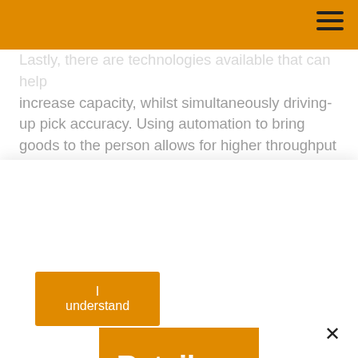Lastly, there are technologies available that can help increase capacity, whilst simultaneously driving-up pick accuracy. Using automation to bring goods to the person allows for higher throughput rates and when combined with directed picking technology, and item scanning for verification, can deliver the volume increases demanded of an expanding business, along with the near perfect
[Figure (logo): Retail Voices logo: orange rectangle with 'Retail' in white bold text and 'voices' in dark brown text below]
This website uses cookies in order to improve the site and user experience. By continuing to use it, you agree to our Privacy Policy.
I understand